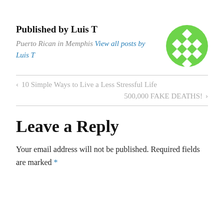Published by Luis T
Puerto Rican in Memphis View all posts by Luis T
[Figure (illustration): Green circular avatar with a diamond/rhombus pattern, light green background with white diamond shapes arranged in a grid]
< 10 Simple Ways to Live a Less Stressful Life
500,000 FAKE DEATHS! >
Leave a Reply
Your email address will not be published. Required fields are marked *